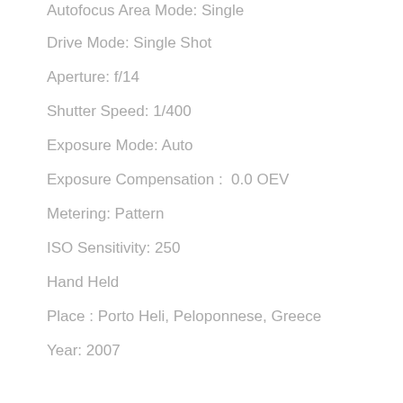Autofocus Area Mode: Single
Drive Mode: Single Shot
Aperture: f/14
Shutter Speed: 1/400
Exposure Mode: Auto
Exposure Compensation :  0.0 OEV
Metering: Pattern
ISO Sensitivity: 250
Hand Held
Place : Porto Heli, Peloponnese, Greece
Year: 2007